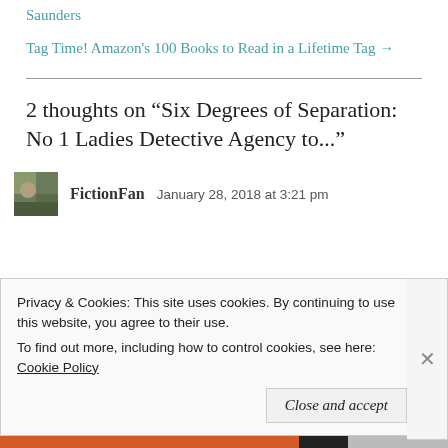Saunders
Tag Time! Amazon's 100 Books to Read in a Lifetime Tag →
2 thoughts on “Six Degrees of Separation: No 1 Ladies Detective Agency to...”
FictionFan   January 28, 2018 at 3:21 pm
Privacy & Cookies: This site uses cookies. By continuing to use this website, you agree to their use.
To find out more, including how to control cookies, see here: Cookie Policy
Close and accept